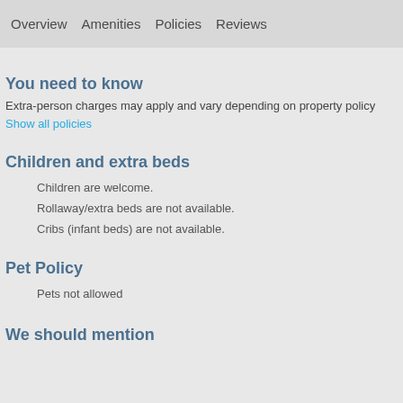Overview  Amenities  Policies  Reviews
You need to know
Extra-person charges may apply and vary depending on property policy
Show all policies
Children and extra beds
Children are welcome.
Rollaway/extra beds are not available.
Cribs (infant beds) are not available.
Pet Policy
Pets not allowed
We should mention